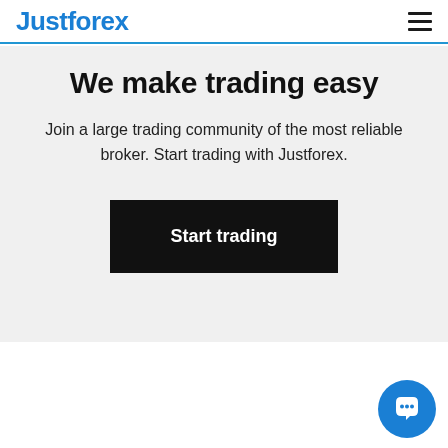Justforex
We make trading easy
Join a large trading community of the most reliable broker. Start trading with Justforex.
Start trading
[Figure (illustration): Blue circular chat support button with speech bubble icon in bottom-right corner]